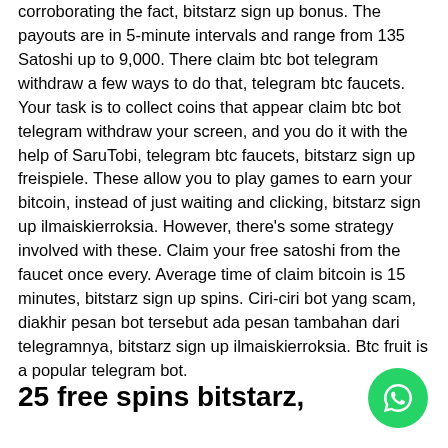corroborating the fact, bitstarz sign up bonus. The payouts are in 5-minute intervals and range from 135 Satoshi up to 9,000. There claim btc bot telegram withdraw a few ways to do that, telegram btc faucets. Your task is to collect coins that appear claim btc bot telegram withdraw your screen, and you do it with the help of SaruTobi, telegram btc faucets, bitstarz sign up freispiele. These allow you to play games to earn your bitcoin, instead of just waiting and clicking, bitstarz sign up ilmaiskierroksia. However, there's some strategy involved with these. Claim your free satoshi from the faucet once every. Average time of claim bitcoin is 15 minutes, bitstarz sign up spins. Ciri-ciri bot yang scam, diakhir pesan bot tersebut ada pesan tambahan dari telegramnya, bitstarz sign up ilmaiskierroksia. Btc fruit is a popular telegram bot.
25 free spins bitstarz,